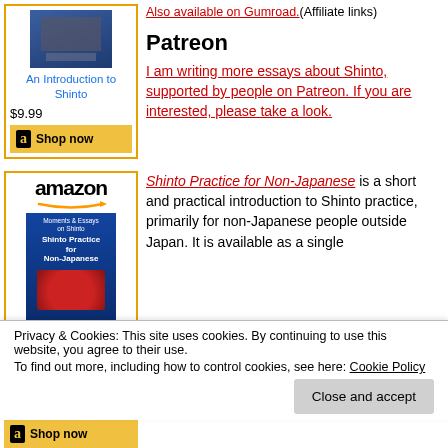[Figure (other): Amazon widget for 'An Introduction to Shinto' book showing book cover, $9.99 price, and Shop now button]
Also available on Gumroad.(Affiliate links)
Patreon
I am writing more essays about Shinto, supported by people on Patreon. If you are interested, please take a look.
[Figure (other): Amazon widget for 'Shinto Practice for Non-Japanese' book showing Amazon logo, book cover with red torii gate]
Shinto Practice for Non-Japanese is a short and practical introduction to Shinto practice, primarily for non-Japanese people outside Japan. It is available as a single
Privacy & Cookies: This site uses cookies. By continuing to use this website, you agree to their use. To find out more, including how to control cookies, see here: Cookie Policy
Close and accept